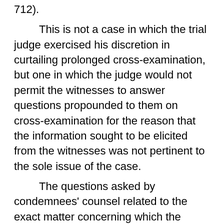712).
This is not a case in which the trial judge exercised his discretion in curtailing prolonged cross-examination, but one in which the judge would not permit the witnesses to answer questions propounded to them on cross-examination for the reason that the information sought to be elicited from the witnesses was not pertinent to the sole issue of the case.
The questions asked by condemnees' counsel related to the exact matter concerning which the witnesses were interrogated on direct examination; that matter was the qualification of the witnesses to testify